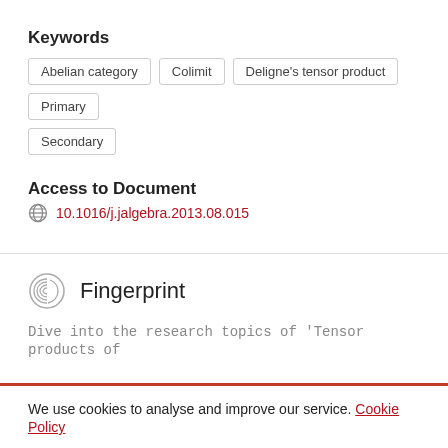Keywords
Abelian category
Colimit
Deligne's tensor product
Primary
Secondary
Access to Document
10.1016/j.jalgebra.2013.08.015
Fingerprint
Dive into the research topics of 'Tensor products of
We use cookies to analyse and improve our service. Cookie Policy